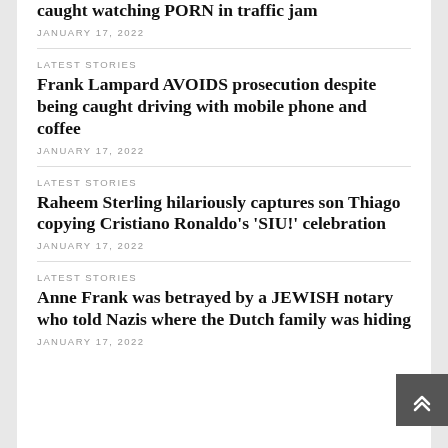caught watching PORN in traffic jam
JANUARY 17, 2022
LATEST STORIES
Frank Lampard AVOIDS prosecution despite being caught driving with mobile phone and coffee
JANUARY 17, 2022
LATEST STORIES
Raheem Sterling hilariously captures son Thiago copying Cristiano Ronaldo's 'SIU!' celebration
JANUARY 17, 2022
LATEST STORIES
Anne Frank was betrayed by a JEWISH notary who told Nazis where the Dutch family was hiding
JANUARY 17, 2022